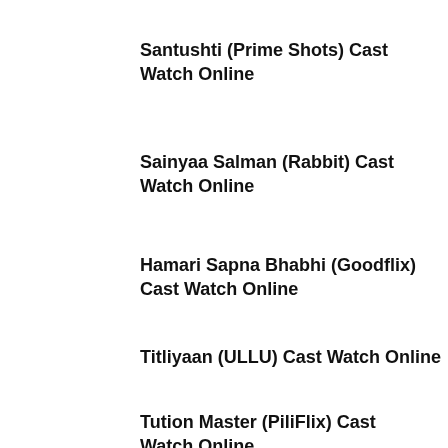Santushti (Prime Shots) Cast Watch Online
Sainyaa Salman (Rabbit) Cast Watch Online
Hamari Sapna Bhabhi (Goodflix) Cast Watch Online
Titliyaan (ULLU) Cast Watch Online
Tution Master (PiliFlix) Cast Watch Online